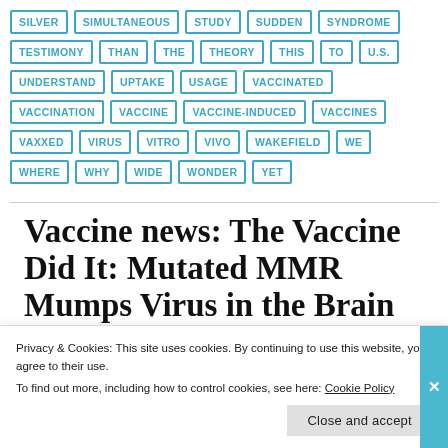SILVER SIMULTANEOUS STUDY SUDDEN SYNDROME TESTIMONY THAN THE THEORY THIS TO U.S. UNDERSTAND UPTAKE USAGE VACCINATED VACCINATION VACCINE VACCINE-INDUCED VACCINES VAXXED VIRUS VITRO VIVO WAKEFIELD WE WHERE WHY WIDE WONDER YET
Vaccine news: The Vaccine Did It: Mutated MMR Mumps Virus in the Brain
Privacy & Cookies: This site uses cookies. By continuing to use this website, you agree to their use. To find out more, including how to control cookies, see here: Cookie Policy